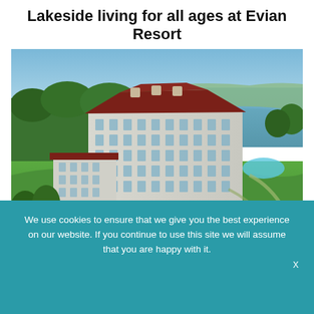Lakeside living for all ages at Evian Resort
[Figure (photo): Aerial drone photograph of Evian Resort hotel, a large white multi-storey building with a dark red mansard roof, set among lush green lawns and trees, with a lake and distant shoreline visible in the background under a blue sky. A circular driveway, a glass conservatory pavilion at the corner, a swimming pool, and winding garden paths are visible.]
We use cookies to ensure that we give you the best experience on our website. If you continue to use this site we will assume that you are happy with it.